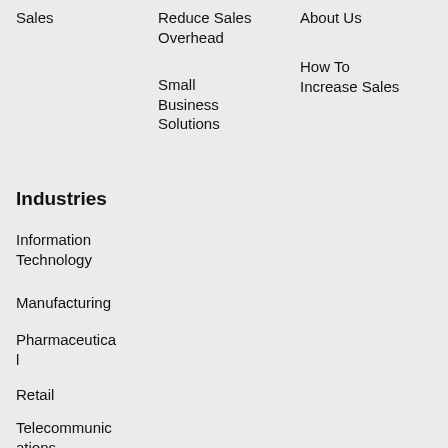Sales
Reduce Sales Overhead
Small Business Solutions
About Us
How To Increase Sales
Industries
Information Technology
Manufacturing
Pharmaceutical
Retail
Telecommunications
Hospitality &